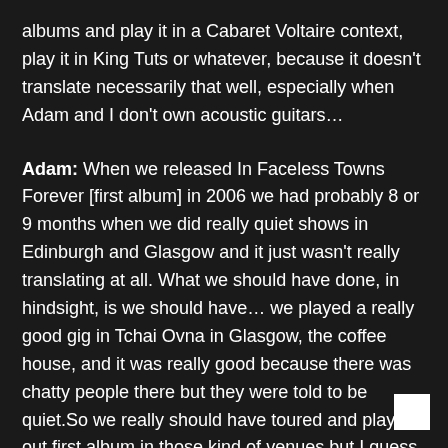albums and play it in a Cabaret Voltaire context, play it in King Tuts or whatever, because it doesn't translate necessarily that well, especially when Adam and I don't own acoustic guitars…
Adam: When we released In Faceless Towns Forever [first album] in 2006 we had probably 8 or 9 months when we did really quiet shows in Edinburgh and Glasgow and it just wasn't really translating at all. What we should have done, in hindsight, is we should have… we played a really good gig in Tchai Ovna in Glasgow, the coffee house, and it was really good because there was chatty people there but they were told to be quiet.So we really should have toured and played out first album in those kind of venues but I guess, because we were naïve and we thought it would translate more, we were just ended up really getting fed up with people chatting.We still kind of do… Yeah. I think most artists, even